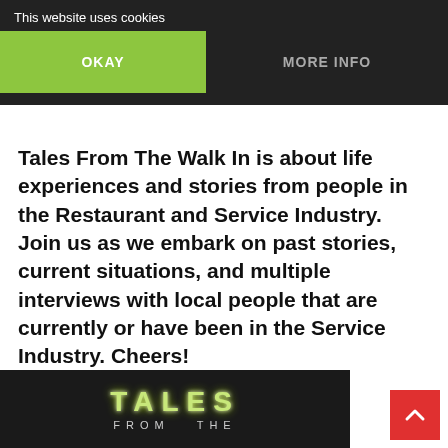This website uses cookies
OKAY
MORE INFO
Tales From The Walk In is about life experiences and stories from people in the Restaurant and Service Industry. Join us as we embark on past stories, current situations, and multiple interviews with local people that are currently or have been in the Service Industry. Cheers!
[Figure (screenshot): Dark banner image showing 'TALES FROM THE' text in styled lettering with green glow effect on dark background]
[Figure (illustration): Red square scroll-to-top button with white upward-pointing chevron arrow]